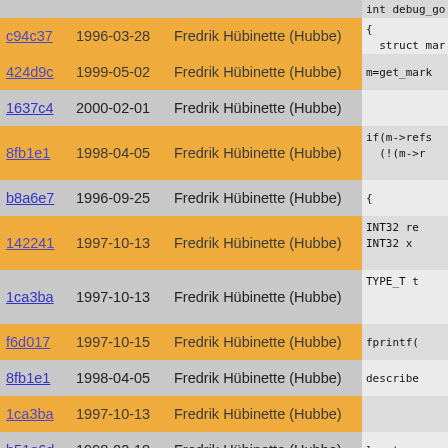| commit | date | author | code |
| --- | --- | --- | --- |
| c94c37 | 1996-03-28 | Fredrik Hübinette (Hubbe) | {  struct mar |
| 424d9c | 1999-05-02 | Fredrik Hübinette (Hubbe) | m=get_mark |
| 1637c4 | 2000-02-01 | Fredrik Hübinette (Hubbe) |  |
| 8fb1e1 | 1998-04-05 | Fredrik Hübinette (Hubbe) | if(m->refs  (!(m->r |
| b8a6e7 | 1996-09-25 | Fredrik Hübinette (Hubbe) | { |
| 142241 | 1997-10-13 | Fredrik Hübinette (Hubbe) | INT32 re  INT32 x |
| 1ca3ba | 1997-10-13 | Fredrik Hübinette (Hubbe) | TYPE_T t |
| f6d017 | 1997-10-15 | Fredrik Hübinette (Hubbe) | fprintf( |
| 8fb1e1 | 1998-04-05 | Fredrik Hübinette (Hubbe) | describe |
| 1ca3ba | 1997-10-13 | Fredrik Hübinette (Hubbe) |  |
| b51e6d | 1998-02-18 | Fredrik Hübinette (Hubbe) | locate_m |
| 142241 | 1997-10-13 | Fredrik Hübinette (Hubbe) | fatal("F  *  re  x |
| b8a6e7 | 1996-09-25 | Fredrik Hübinette (Hubbe) | } |